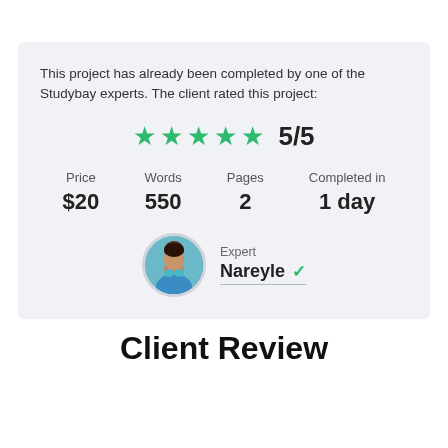This project has already been completed by one of the Studybay experts. The client rated this project:
★★★★★ 5/5
| Price | Words | Pages | Completed in |
| --- | --- | --- | --- |
| $20 | 550 | 2 | 1 day |
Expert
Nareyle ✓
Client Review